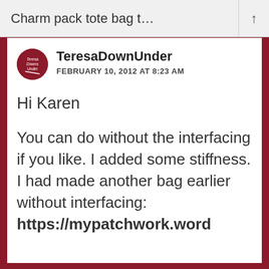Charm pack tote bag t…
TeresaDownUnder
FEBRUARY 10, 2012 AT 8:23 AM
Hi Karen
You can do without the interfacing if you like. I added some stiffness. I had made another bag earlier without interfacing: https://mypatchwork.word